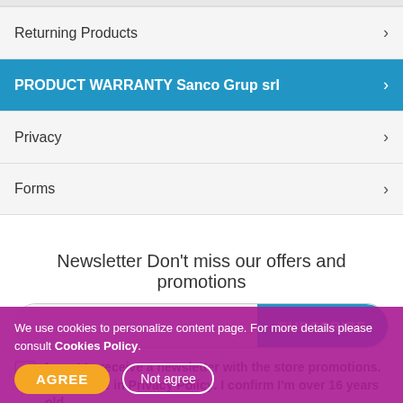Returning Products
PRODUCT WARRANTY Sanco Grup srl
Privacy
Forms
Newsletter Don't miss our offers and promotions
I want to receive a newsletter with the store promotions. Read more in Privacy Policy. I confirm I'm over 16 years old.
Social followers and social media
We use cookies to personalize content page. For more details please consult Cookies Policy.
AGREE  Not agree